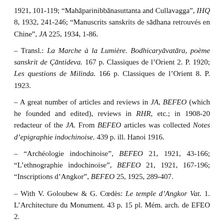1921, 101-119; “Mahāparinibbānasuttanta and Cullavagga”, IHQ 8, 1932, 241-246; “Manuscrits sanskrits de sādhana retrouvés en Chine”, JA 225, 1934, 1-86.
– Transl.: La Marche à la Lumière. Bodhicaryāvatāra, poème sanskrit de Çāntideva. 167 p. Classiques de l’Orient 2. P. 1920; Les questions de Milinda. 166 p. Classiques de l’Orient 8. P. 1923.
– A great number of articles and reviews in JA, BEFEO (which he founded and edited), reviews in RHR, etc.; in 1908-20 redacteur of the JA. From BEFEO articles was collected Notes d’epigraphie indochinoise. 439 p. ill. Hanoi 1916.
– “Archéologie indochinoise”, BEFEO 21, 1921, 43-166; “L’ethnographie indochinoise”, BEFEO 21, 1921, 167-196; “Inscriptions d’Angkor”, BEFEO 25, 1925, 289-407.
– With V. Goloubew & G. Cœdès: Le temple d’Angkor Vat. 1. L’Architecture du Monument. 43 p. 15 pl. Mém. arch. de EFEO 2.